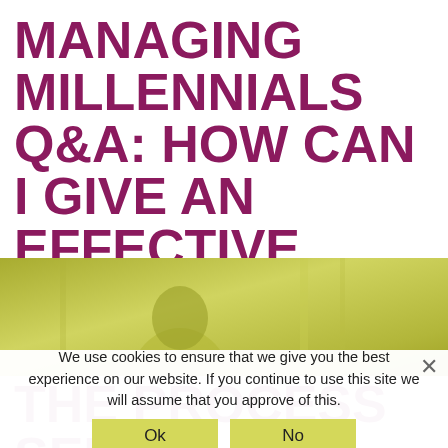MANAGING MILLENNIALS Q&A: HOW CAN I GIVE AN EFFECTIVE ANNUAL REVIEW WHEN THE PROCESS SEEMS ARCHAIC?
[Figure (photo): Partial photo of a person in a yellow-green tinted outdoor scene, cropped to show approximately the top portion of a person's head and shoulders against a blurred background]
We use cookies to ensure that we give you the best experience on our website. If you continue to use this site we will assume that you approve of this.